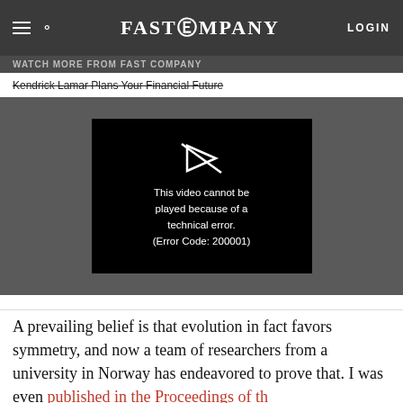FAST COMPANY  LOGIN
WATCH MORE FROM FAST COMPANY
Kendrick Lamar Plans Your Financial Future
[Figure (screenshot): Video player showing error message: 'This video cannot be played because of a technical error. (Error Code: 200001)' with a broken video icon on a black background inside a dark grey video player area.]
A prevailing belief is that evolution in fact favors symmetry, and now a team of researchers from a university in Norway has endeavored to prove that. I was even published in the Proceedings of the